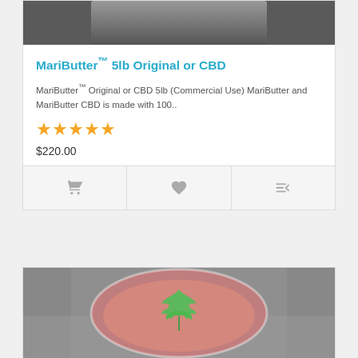[Figure (photo): Top portion of a product photo showing a jar/container, cropped at top of card]
MariButter™ 5lb Original or CBD
MariButter™ Original or CBD 5lb (Commercial Use) MariButter and MariButter CBD is made with 100..
★★★★★
$220.00
[Figure (photo): Product photo showing a bowl with pink/red butter and a green cannabis leaf shape on top, wrapped in plastic on foil surface]